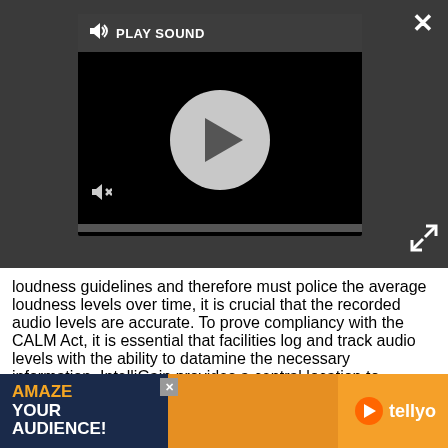[Figure (screenshot): Video player UI with dark background, PLAY SOUND label, speaker icon, circular play button, mute icon, and progress bar. Close button (X) top right. Expand arrows bottom right.]
loudness guidelines and therefore must police the average loudness levels over time, it is crucial that the recorded audio levels are accurate. To prove compliancy with the CALM Act, it is essential that facilities log and track audio levels with the ability to datamine the necessary information. IntelliGain provides a central location to configure, store and analyze all signal metrics including loudness throughout the plant. Therefore, the system is completely accessible with the ability to extract the necessary logs.
[Figure (screenshot): Advertisement banner: dark navy left side reads AMAZE YOUR AUDIENCE! in orange and white bold text. Right side is orange with a family photo and tellyo logo with orange play button.]